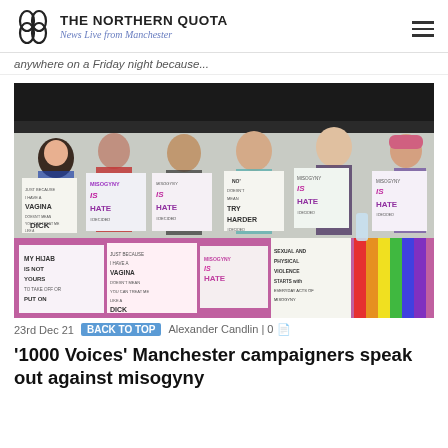THE NORTHERN QUOTA — News Live from Manchester
anywhere on a Friday night because...
[Figure (photo): Six young people standing behind a table covered in campaign materials, holding signs with messages about misogyny being hate, vagina, hijab, and sexual violence. Signs include: 'JUST BECAUSE I HAVE A VAGINA DOESN'T MEAN YOU CAN TREAT ME LIKE A DICK', 'MISOGYNY IS HATE #DECIDED', 'NO DOESN'T MEAN TRY HARDER', 'MISOGYNY IS HATE #DECIDED', 'MY HIJAB IS NOT YOURS TO TAKE OFF OR PUT ON', 'JUST BECAUSE I HAVE A VAGINA DOESN'T MEAN YOU CAN TREAT ME LIKE A DICK', 'MISOGYNY IS HATE', 'SEXUAL AND PHYSICAL VIOLENCE STARTS WITH EVERYDAY ACTS OF MISOGYNY'. Table has rainbow and purple decorations. Event appears to be an outdoor campaign stall.]
23rd Dec 21 | Alexander Candlin | 0
'1000 Voices' Manchester campaigners speak out against misogyny